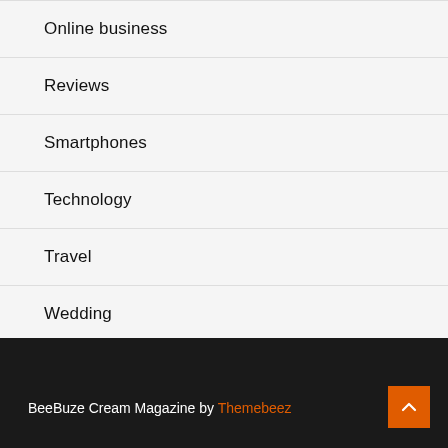Online business
Reviews
Smartphones
Technology
Travel
Wedding
BeeBuze Cream Magazine by Themebeez